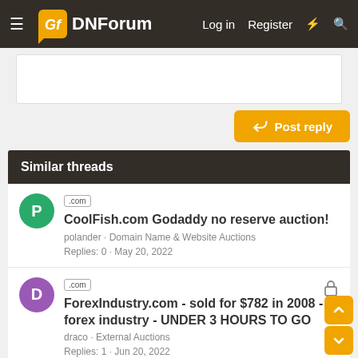DNForum — Log in  Register
Similar threads
.com  CoolFish.com Godaddy no reserve auction!
polander · Domain Name & Website Auctions
Replies: 0 · May 20, 2022
.com  ForexIndustry.com - sold for $782 in 2008 - forex industry - UNDER 3 HOURS TO GO
draco · External Auctions
Replies: 1 · Jun 20, 2022
external  Cryptonftnews.com on auction on